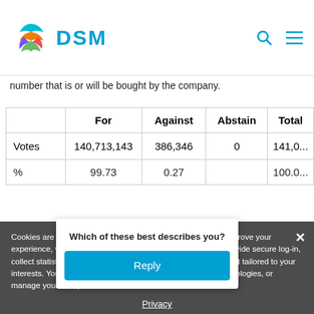DSM
number that is or will be bought by the company.
|  | For | Against | Abstain | Total |
| --- | --- | --- | --- | --- |
| Votes | 140,713,143 | 386,346 | 0 | 141,0... |
| % | 99.73 | 0.27 |  | 100.... |
Cookies are important to the proper functioning of a site. To improve your experience, we use cookies to remember log-in details and provide secure log-in, collect statistics to optimize site functionality, and deliver content tailored to your interests. You may choose to consent to our use of these technologies, or manage your own preferences.
Privacy
ACCEPT ALL
Which of these best describes you?
Reply